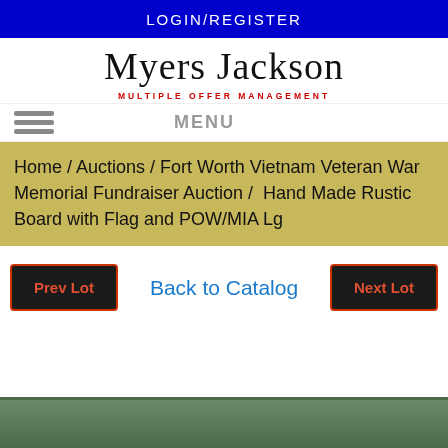LOGIN/REGISTER
[Figure (logo): Myers Jackson cursive script logo with 'MULTIPLE OFFER MANAGEMENT' subtitle in red]
MENU
Home / Auctions / Fort Worth Vietnam Veteran War Memorial Fundraiser Auction / Hand Made Rustic Board with Flag and POW/MIA Lg
Prev Lot
Back to Catalog
Next Lot
[Figure (photo): Partial view of auction item photo at bottom of page]